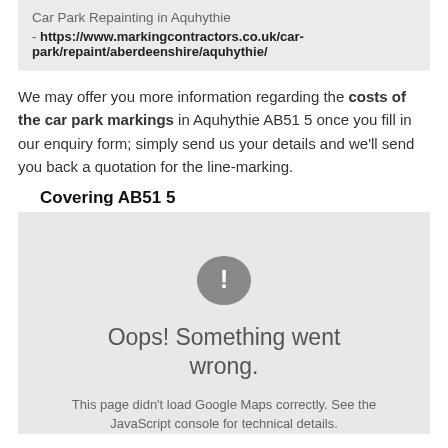Car Park Repainting in Aquhythie - https://www.markingcontractors.co.uk/car-park/repaint/aberdeenshire/aquhythie/
We may offer you more information regarding the costs of the car park markings in Aquhythie AB51 5 once you fill in our enquiry form; simply send us your details and we'll send you back a quotation for the line-marking.
Covering AB51 5
[Figure (other): Google Maps error panel showing a grey background with an exclamation mark icon, 'Oops! Something went wrong.' message, and 'This page didn't load Google Maps correctly. See the JavaScript console for technical details.']